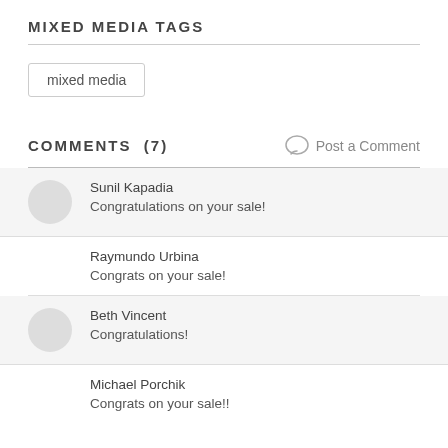MIXED MEDIA TAGS
mixed media
COMMENTS (7)
Post a Comment
Sunil Kapadia
Congratulations on your sale!
Raymundo Urbina
Congrats on your sale!
Beth Vincent
Congratulations!
Michael Porchik
Congrats on your sale!!